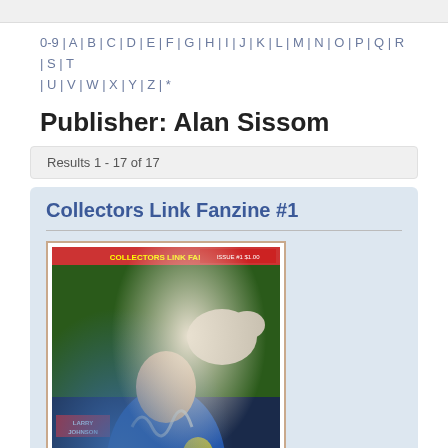0-9 | A | B | C | D | E | F | G | H | I | J | K | L | M | N | O | P | Q | R | S | T | U | V | W | X | Y | Z | *
Publisher: Alan Sissom
Results 1 - 17 of 17
Collectors Link Fanzine #1
[Figure (photo): Cover of Collectors Link Fanzine #1 showing a comic book cover with a man in blue shirt, a dog, text Larry Johnson, on colorful background]
Category: Fanzines
Publisher  Alan Sissom
Country  USA